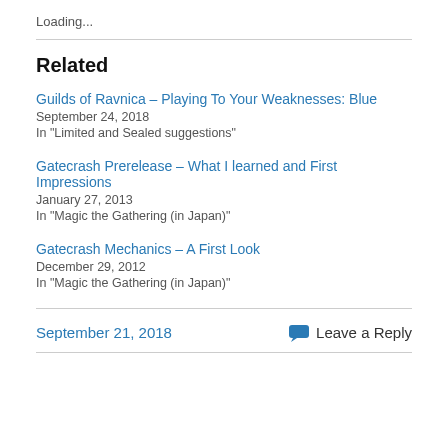Loading...
Related
Guilds of Ravnica – Playing To Your Weaknesses: Blue
September 24, 2018
In "Limited and Sealed suggestions"
Gatecrash Prerelease – What I learned and First Impressions
January 27, 2013
In "Magic the Gathering (in Japan)"
Gatecrash Mechanics – A First Look
December 29, 2012
In "Magic the Gathering (in Japan)"
September 21, 2018    Leave a Reply